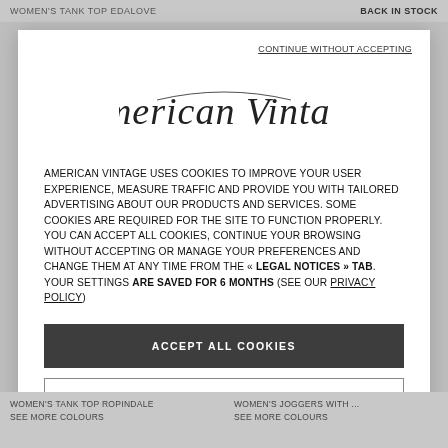WOMEN'S TANK TOP EDALOVE    BACK IN STOCK
CONTINUE WITHOUT ACCEPTING
[Figure (logo): American Vintage cursive script logo]
AMERICAN VINTAGE USES COOKIES TO IMPROVE YOUR USER EXPERIENCE, MEASURE TRAFFIC AND PROVIDE YOU WITH TAILORED ADVERTISING ABOUT OUR PRODUCTS AND SERVICES. SOME COOKIES ARE REQUIRED FOR THE SITE TO FUNCTION PROPERLY. YOU CAN ACCEPT ALL COOKIES, CONTINUE YOUR BROWSING WITHOUT ACCEPTING OR MANAGE YOUR PREFERENCES AND CHANGE THEM AT ANY TIME FROM THE « LEGAL NOTICES » TAB. YOUR SETTINGS ARE SAVED FOR 6 MONTHS (SEE OUR PRIVACY POLICY)
ACCEPT ALL COOKIES
COOKIES SETTINGS
WOMEN'S TANK TOP ROPINDALE  SEE MORE COLOURS    WOMEN'S JOGGERS WITH ...  SEE MORE COLOURS